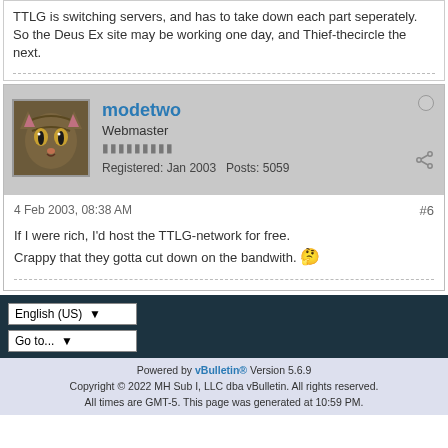TTLG is switching servers, and has to take down each part seperately. So the Deus Ex site may be working one day, and Thief-thecircle the next.
modetwo
Webmaster
Registered: Jan 2003  Posts: 5059
4 Feb 2003, 08:38 AM
#6
If I were rich, I'd host the TTLG-network for free.
Crappy that they gotta cut down on the bandwith.
Powered by vBulletin® Version 5.6.9
Copyright © 2022 MH Sub I, LLC dba vBulletin. All rights reserved.
All times are GMT-5. This page was generated at 10:59 PM.